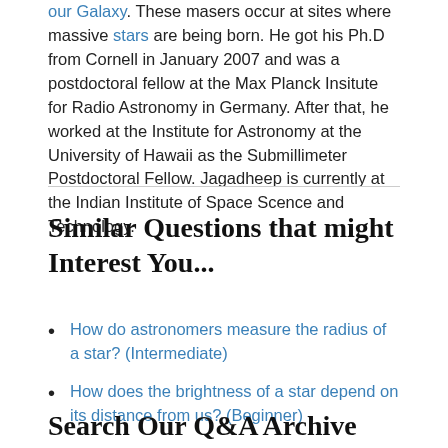our Galaxy. These masers occur at sites where massive stars are being born. He got his Ph.D from Cornell in January 2007 and was a postdoctoral fellow at the Max Planck Insitute for Radio Astronomy in Germany. After that, he worked at the Institute for Astronomy at the University of Hawaii as the Submillimeter Postdoctoral Fellow. Jagadheep is currently at the Indian Institute of Space Scence and Technology.
Similar Questions that might Interest You...
How do astronomers measure the radius of a star? (Intermediate)
How does the brightness of a star depend on its distance from us? (Beginner)
Search Our Q&A Archive